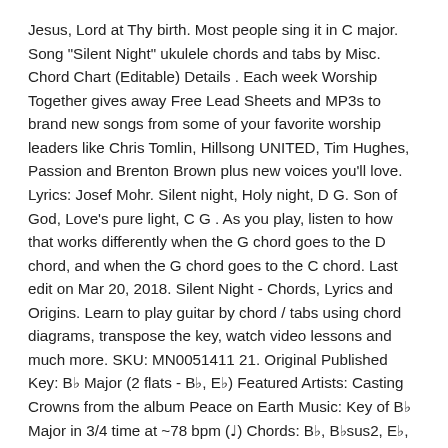Jesus, Lord at Thy birth. Most people sing it in C major. Song "Silent Night" ukulele chords and tabs by Misc. Chord Chart (Editable) Details . Each week Worship Together gives away Free Lead Sheets and MP3s to brand new songs from some of your favorite worship leaders like Chris Tomlin, Hillsong UNITED, Tim Hughes, Passion and Brenton Brown plus new voices you'll love. Lyrics: Josef Mohr. Silent night, Holy night, D G. Son of God, Love's pure light, C G . As you play, listen to how that works differently when the G chord goes to the D chord, and when the G chord goes to the C chord. Last edit on Mar 20, 2018. Silent Night - Chords, Lyrics and Origins. Learn to play guitar by chord / tabs using chord diagrams, transpose the key, watch video lessons and much more. SKU: MN0051411 21. Original Published Key: B♭ Major (2 flats - B♭, E♭) Featured Artists: Casting Crowns from the album Peace on Earth Music: Key of B♭ Major in 3/4 time at ~78 bpm (♩) Chords: B♭, B♭sus2, E♭, E♭sus2, F7, Gm Easier: Play in A Major - Capo on 1 if playing with the video Silent Night Chords by Bing Crosby. C Silent night, holy night G C All is calm, All is bright F C Round yon Virgin, Mother and Child F C Holy Infant so Tender and mild, G C Sleep in heavenly peace, C G C Sleep in heavenly peace. "Toyland" – Key of F Major. Have a